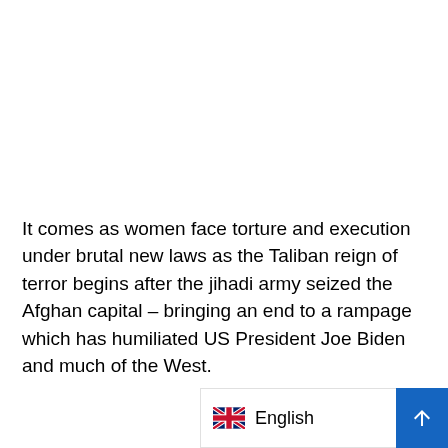It comes as women face torture and execution under brutal new laws as the Taliban reign of terror begins after the jihadi army seized the Afghan capital – bringing an end to a rampage which has humiliated US President Joe Biden and much of the West.